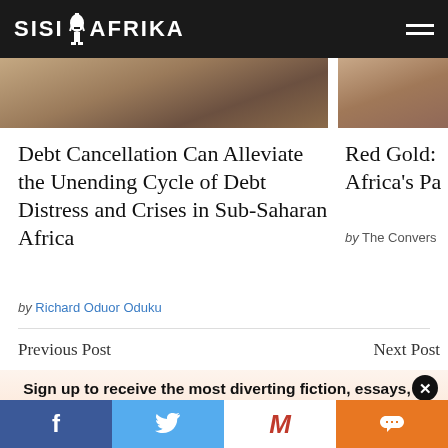SISI AFRIKA
[Figure (photo): Two cropped photo thumbnails side by side: left shows a textured brownish wall/surface, right shows another partial brownish image.]
Debt Cancellation Can Alleviate the Unending Cycle of Debt Distress and Crises in Sub-Saharan Africa
by Richard Oduor Oduku
Red Gold: Africa's Pa
by The Convers
Previous Post
Next Post
Sign up to receive the most diverting fiction, essays, analyses and news across Africa in your inbox, on Monday every week.